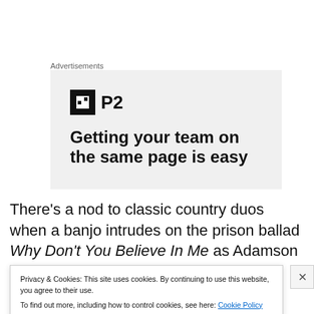Advertisements
[Figure (screenshot): Advertisement banner for P2 product with logo and headline 'Getting your team on the same page is easy']
There's a nod to classic country duos when a banjo intrudes on the prison ballad Why Don't You Believe In Me as Adamson trades harmony vocals with the song
Privacy & Cookies: This site uses cookies. By continuing to use this website, you agree to their use.
To find out more, including how to control cookies, see here: Cookie Policy